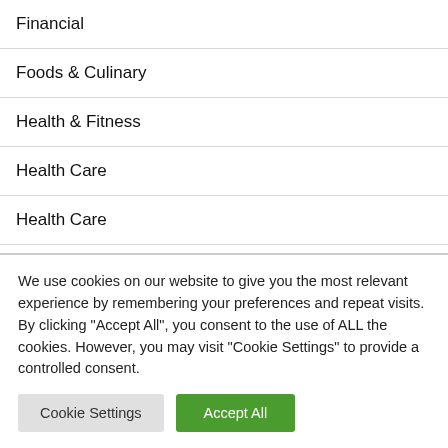Financial
Foods & Culinary
Health & Fitness
Health Care
Health Care
Health Care & Medical
We use cookies on our website to give you the most relevant experience by remembering your preferences and repeat visits. By clicking "Accept All", you consent to the use of ALL the cookies. However, you may visit "Cookie Settings" to provide a controlled consent.
Cookie Settings | Accept All